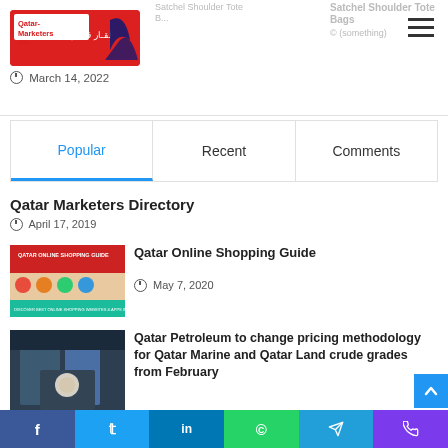[Figure (logo): Qatar Marketers .com logo with shark fin and Arabic text]
Satchel Shoulder Tote
Satchel Shoulder Tote Bags
March 14, 2022
| Popular | Recent | Comments |
| --- | --- | --- |
Qatar Marketers Directory
April 17, 2019
[Figure (screenshot): Qatar Online Shopping Guide thumbnail image with red and teal background]
Qatar Online Shopping Guide
May 7, 2020
[Figure (photo): Qatar Petroleum building photo]
Qatar Petroleum to change pricing methodology for Qatar Marine and Qatar Land crude grades from February